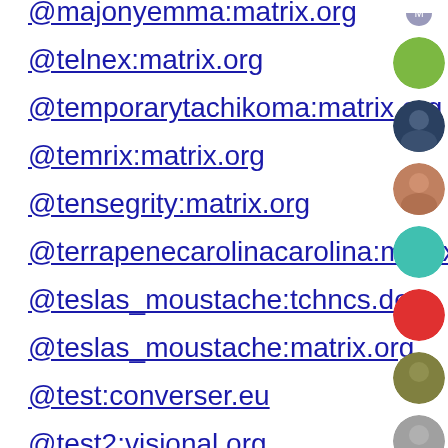@majonyemma:matrix.org
@telnex:matrix.org
@temporarytachikoma:matrix.org
@temrix:matrix.org
@tensegrity:matrix.org
@terrapenecarolinacarolina:matrix.org
@teslas_moustache:tchncs.de
@teslas_moustache:matrix.org
@test:converser.eu
@test2:visional.org
@testastv:matrix.org